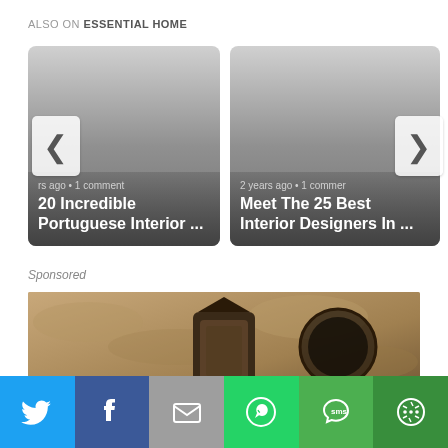ALSO ON ESSENTIAL HOME
[Figure (screenshot): Two article cards: '20 Incredible Portuguese Interior ...' and 'Meet The 25 Best Interior Designers In ...' with left and right navigation arrows]
Sponsored
[Figure (photo): Sponsored content photo showing a vintage lantern on a stone wall]
[Figure (infographic): Social sharing bar with Twitter, Facebook, Email, WhatsApp, SMS, and More buttons]